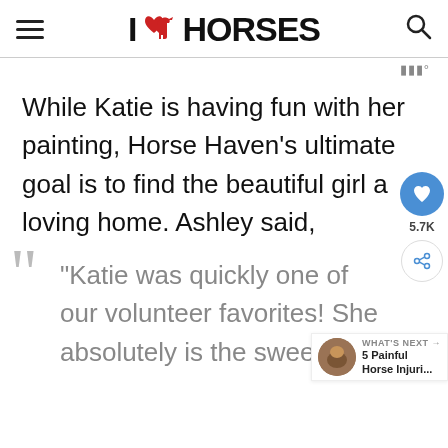I HORSES
While Katie is having fun with her painting, Horse Haven's ultimate goal is to find the beautiful girl a loving home. Ashley said,
"Katie was quickly one of our volunteer favorites! She absolutely is the sweetest